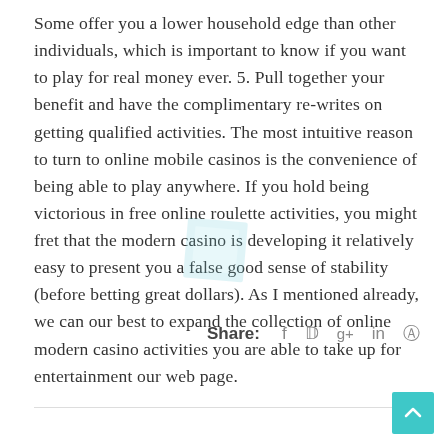Some offer you a lower household edge than other individuals, which is important to know if you want to play for real money ever. 5. Pull together your benefit and have the complimentary re-writes on getting qualified activities. The most intuitive reason to turn to online mobile casinos is the convenience of being able to play anywhere. If you hold being victorious in free online roulette activities, you might fret that the modern casino is developing it relatively easy to present you a false good sense of stability (before betting great dollars). As I mentioned already, we can our best to expand the collection of online modern casino activities you are able to take up for entertainment our web page.
Share:  f  t  g+  in  ®